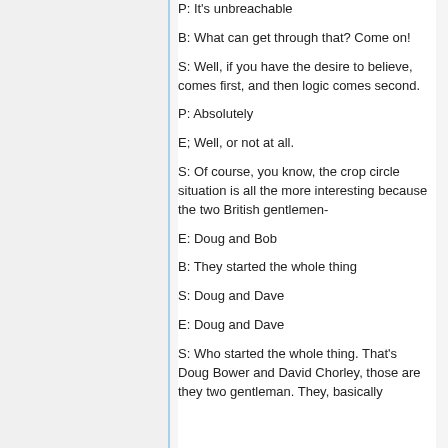P: It's unbreachable
B: What can get through that? Come on!
S: Well, if you have the desire to believe, comes first, and then logic comes second.
P: Absolutely
E; Well, or not at all.
S: Of course, you know, the crop circle situation is all the more interesting because the two British gentlemen-
E: Doug and Bob
B: They started the whole thing
S: Doug and Dave
E: Doug and Dave
S: Who started the whole thing. That's Doug Bower and David Chorley, those are they two gentleman. They, basically over a couple of pints at the pub in the